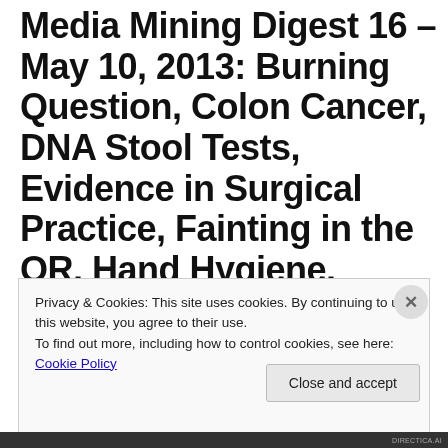Media Mining Digest 16 – May 10, 2013: Burning Question, Colon Cancer, DNA Stool Tests, Evidence in Surgical Practice, Fainting in the OR, Hand Hygiene, Informed Consent, Kitty Litter, Muslim Family Values, Operating Room Lessons,
Privacy & Cookies: This site uses cookies. By continuing to use this website, you agree to their use.
To find out more, including how to control cookies, see here: Cookie Policy